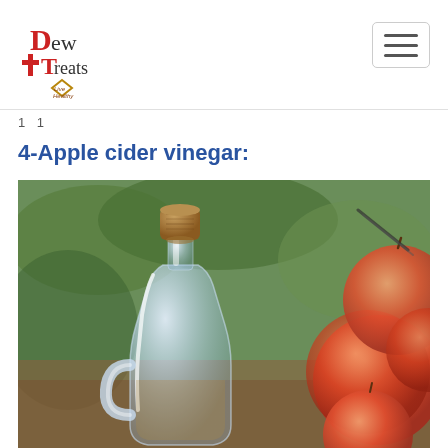Dew Treats - Live Healthy (logo) | hamburger menu
1 1
4-Apple cider vinegar:
[Figure (photo): A glass bottle/jug with a cork stopper containing apple cider vinegar, surrounded by fresh red apples and green leaves on a wooden surface]